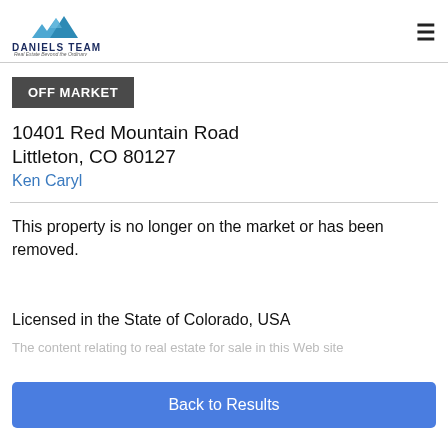[Figure (logo): Daniels Team real estate logo with blue mountain peaks and text 'DANIELS TEAM' with tagline 'Real Estate Beyond the Ordinary']
OFF MARKET
10401 Red Mountain Road
Littleton, CO 80127
Ken Caryl
This property is no longer on the market or has been removed.
Licensed in the State of Colorado, USA
The content relating to real estate for sale in this Web site
Back to Results